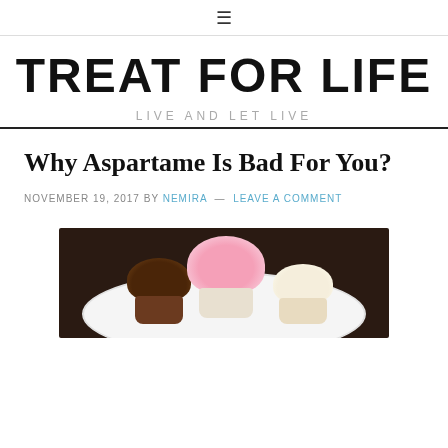☰
TREAT FOR LIFE
LIVE AND LET LIVE
Why Aspartame Is Bad For You?
NOVEMBER 19, 2017 BY NEMIRA — LEAVE A COMMENT
[Figure (photo): Three decorated cupcakes on a white plate against a dark background — one chocolate frosted, one with pink swirled frosting, and one with vanilla frosting with sprinkles.]